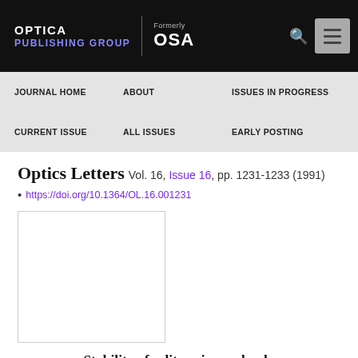OPTICA PUBLISHING GROUP | Formerly OSA
JOURNAL HOME
ABOUT
ISSUES IN PROGRESS
CURRENT ISSUE
ALL ISSUES
EARLY POSTING
Optics Letters  Vol. 16, Issue 16, pp. 1231-1233  (1991)
• https://doi.org/10.1364/OL.16.001231
[Figure (other): Thumbnail/cover image placeholder for the article]
Stability of solitons in randomly varying birefringent fibers